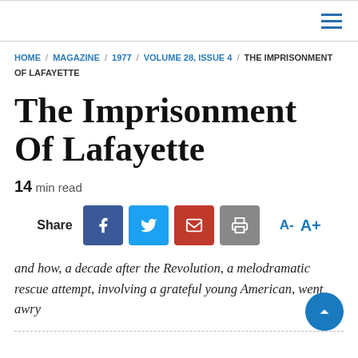HOME / MAGAZINE / 1977 / VOLUME 28, ISSUE 4 / THE IMPRISONMENT OF LAFAYETTE
The Imprisonment Of Lafayette
14 min read
Share
and how, a decade after the Revolution, a melodramatic rescue attempt, involving a grateful young American, went awry